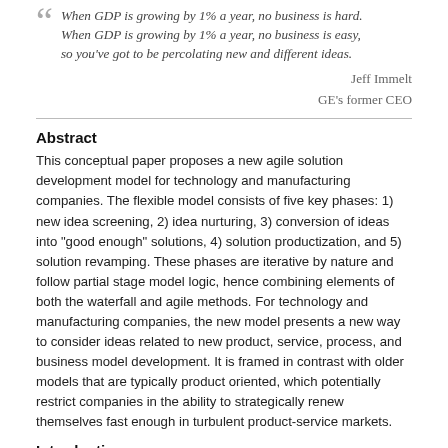When GDP is growing by 1% a year, no business is hard. When GDP is growing by 1% a year, no business is easy, so you've got to be percolating new and different ideas.
Jeff Immelt
GE's former CEO
Abstract
This conceptual paper proposes a new agile solution development model for technology and manufacturing companies. The flexible model consists of five key phases: 1) new idea screening, 2) idea nurturing, 3) conversion of ideas into "good enough" solutions, 4) solution productization, and 5) solution revamping. These phases are iterative by nature and follow partial stage model logic, hence combining elements of both the waterfall and agile methods. For technology and manufacturing companies, the new model presents a new way to consider ideas related to new product, service, process, and business model development. It is framed in contrast with older models that are typically product oriented, which potentially restrict companies in the ability to strategically renew themselves fast enough in turbulent product-service markets.
Introduction